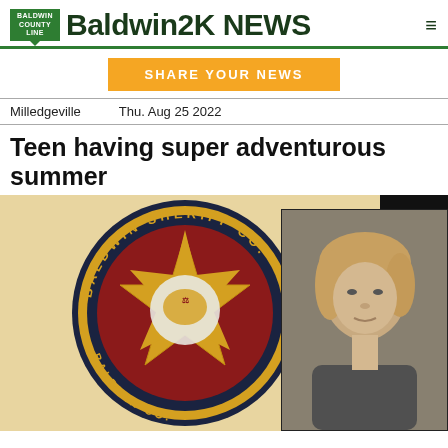Baldwin2K NEWS
SHARE YOUR NEWS
Milledgeville   Thu. Aug 25 2022
Teen having super adventurous summer
[Figure (photo): Baldwin Sheriff County patch badge (circular, dark navy border with gold lettering 'BALDWIN SHERIFF CO.' and a gold star with red background and white center emblem) overlaid with a mugshot photo of a young teenage male with blonde hair on the right side]